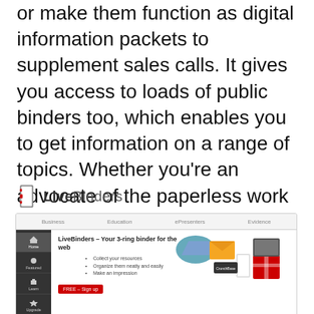or make them function as digital information packets to supplement sales calls. It gives you access to loads of public binders too, which enables you to get information on a range of topics. Whether you're an advocate of the paperless work environment, or you simply do business online, this site's one to bookmark.
[Figure (screenshot): Screenshot of LiveBinders website showing the homepage with sidebar navigation (Home, Featured, Learn, Upgrade, Tools), main content area with title 'LiveBinders – Your 3-ring binder for the web', bullet points, a FREE Sign up button, and an image collage. Below the screenshot is italic text 'Over 1 million curated resources – just search for a topic!' and bold red text 'Business Binders'.]